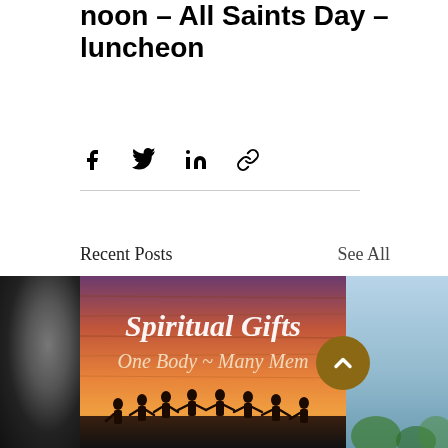noon - All Saints Day - luncheon
[Figure (other): Social share icons: Facebook, Twitter, LinkedIn, link/chain icon]
Recent Posts
See All
[Figure (photo): Left partial image: dark grayscale texture, appears to be a close-up photo]
[Figure (photo): Center image: Spiritual Gifts - One Body ~ Many Members. Sunset background with silhouettes of people holding hands, handwritten text overlay.]
[Figure (photo): Right partial image: light blue/gray, appears to be a landscape or nature photo]